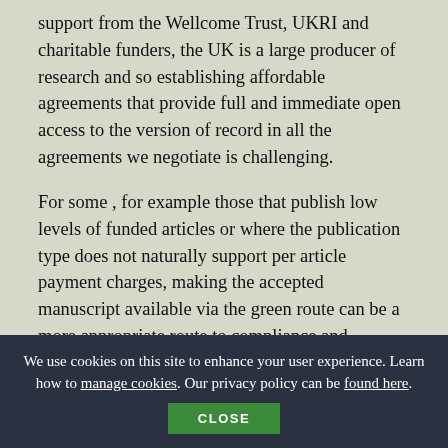support from the Wellcome Trust, UKRI and charitable funders, the UK is a large producer of research and so establishing affordable agreements that provide full and immediate open access to the version of record in all the agreements we negotiate is challenging.
For some , for example those that publish low levels of funded articles or where the publication type does not naturally support per article payment charges, making the accepted manuscript available via the green route can be a more appropriate route to compliance and provides institutions and with greater pricing and revenue stability. Although we
We use cookies on this site to enhance your user experience. Learn how to manage cookies. Our privacy policy can be found here.